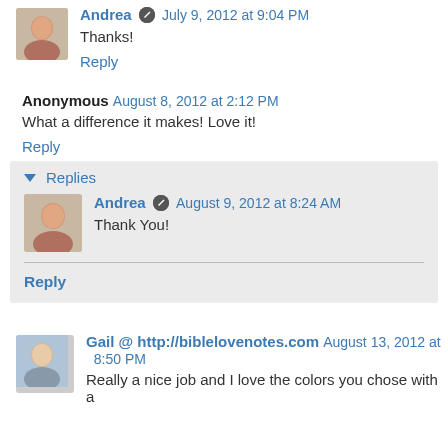Andrea · July 9, 2012 at 9:04 PM
Thanks!
Reply
Anonymous August 8, 2012 at 2:12 PM
What a difference it makes! Love it!
Reply
Replies
Andrea · August 9, 2012 at 8:24 AM
Thank You!
Reply
Gail @ http://biblelovenotes.com August 13, 2012 at 8:50 PM
Really a nice job and I love the colors you chose with a